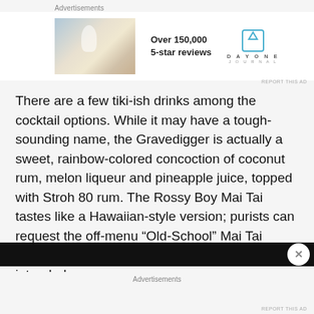Advertisements
[Figure (photo): Advertisement banner: photo of person with arms raised against sky background, with text 'Over 150,000 5-star reviews' and Day One Journal logo]
There are a few tiki-ish drinks among the cocktail options. While it may have a tough-sounding name, the Gravedigger is actually a sweet, rainbow-colored concoction of coconut rum, melon liqueur and pineapple juice, topped with Stroh 80 rum. The Rossy Boy Mai Tai tastes like a Hawaiian-style version; purists can request the off-menu “Old-School” Mai Tai which more closely resembles what Trader Vic intended.
[Figure (screenshot): Bottom advertisement banner strip, dark background with close button]
Advertisements